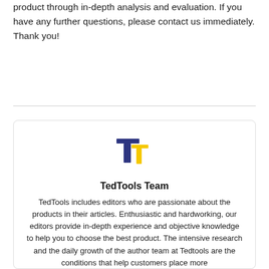product through in-depth analysis and evaluation. If you have any further questions, please contact us immediately. Thank you!
[Figure (logo): TedTools logo: two overlapping letter T shapes, one dark blue and one yellow]
TedTools Team
TedTools includes editors who are passionate about the products in their articles. Enthusiastic and hardworking, our editors provide in-depth experience and objective knowledge to help you to choose the best product. The intensive research and the daily growth of the author team at Tedtools are the conditions that help customers place more